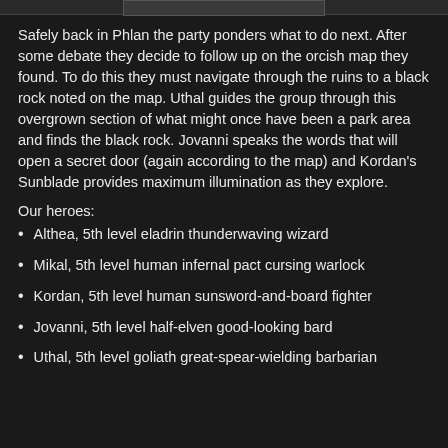Safely back in Phlan the party ponders what to do next. After some debate they decide to follow up on the orcish map they found. To do this they must navigate through the ruins to a black rock noted on the map. Uthal guides the group through this overgrown section of what might once have been a park area and finds the black rock. Jovanni speaks the words that will open a secret door (again according to the map) and Kordan's Sunblade provides maximum illumination as they explore.
Our heroes:
Althea, 5th level eladrin thunderwaving wizard
Mikal, 5th level human infernal pact cursing warlock
Kordan, 5th level human sunsword-and-board fighter
Jovanni, 5th level half-elven good-looking bard
Uthal, 5th level goliath great-spear-wielding barbarian